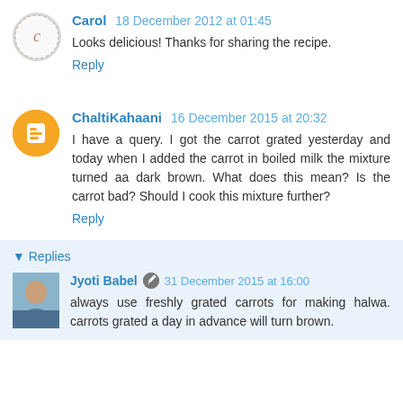Carol 18 December 2012 at 01:45
Looks delicious! Thanks for sharing the recipe.
Reply
ChaltiKahaani 16 December 2015 at 20:32
I have a query. I got the carrot grated yesterday and today when I added the carrot in boiled milk the mixture turned aa dark brown. What does this mean? Is the carrot bad? Should I cook this mixture further?
Reply
Replies
Jyoti Babel 31 December 2015 at 16:00
always use freshly grated carrots for making halwa. carrots grated a day in advance will turn brown.